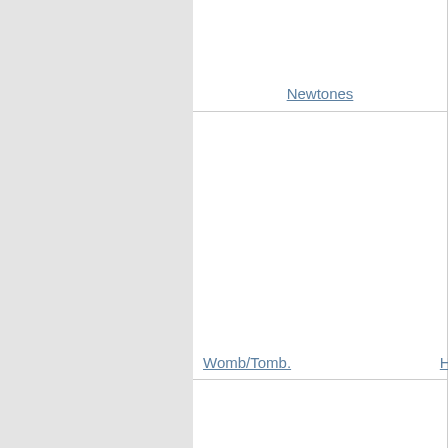[Figure (screenshot): Left gray sidebar column occupying roughly the left 43% of the page]
Newtones
Womb/Tomb.
Ha